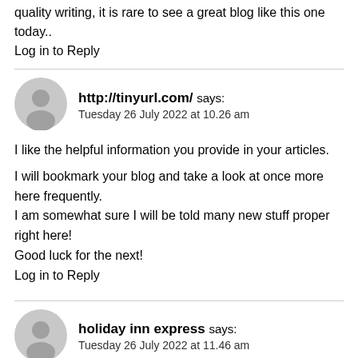quality writing, it is rare to see a great blog like this one today..
Log in to Reply
[Figure (illustration): Gray circular avatar icon for commenter http://tinyurl.com/]
http://tinyurl.com/ says:
Tuesday 26 July 2022 at 10.26 am
I like the helpful information you provide in your articles.
I will bookmark your blog and take a look at once more here frequently.
I am somewhat sure I will be told many new stuff proper right here!
Good luck for the next!
Log in to Reply
[Figure (illustration): Gray circular avatar icon for commenter holiday inn express]
holiday inn express says:
Tuesday 26 July 2022 at 11.46 am